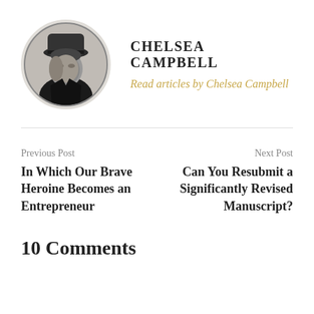[Figure (photo): Circular profile photo of Chelsea Campbell, a person wearing a dark hat, black and white photo]
CHELSEA CAMPBELL
Read articles by Chelsea Campbell
Previous Post
In Which Our Brave Heroine Becomes an Entrepreneur
Next Post
Can You Resubmit a Significantly Revised Manuscript?
10 Comments